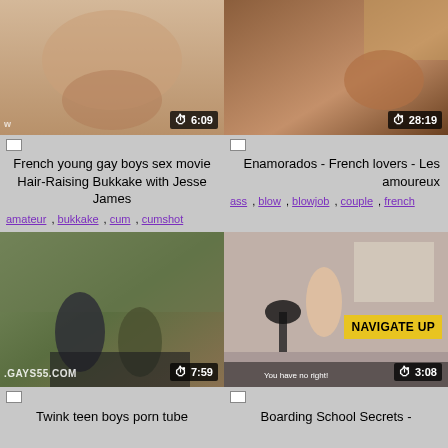[Figure (screenshot): Video thumbnail - top left, shows duration 6:09]
[Figure (screenshot): Video thumbnail - top right, shows duration 28:19]
French young gay boys sex movie Hair-Raising Bukkake with Jesse James
amateur , bukkake , cum , cumshot
Enamorados - French lovers - Les amoureux
ass , blow , blowjob , couple , french
[Figure (screenshot): Video thumbnail - bottom left, watermark .GAYS55.COM, duration 7:59]
[Figure (screenshot): Video thumbnail - bottom right, NAVIGATE UP button, duration 3:08]
Twink teen boys porn tube
Boarding School Secrets -